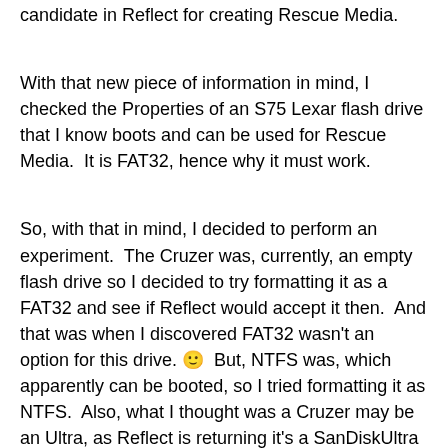candidate in Reflect for creating Rescue Media.
With that new piece of information in mind, I checked the Properties of an S75 Lexar flash drive that I know boots and can be used for Rescue Media.  It is FAT32, hence why it must work.
So, with that in mind, I decided to perform an experiment.  The Cruzer was, currently, an empty flash drive so I decided to try formatting it as a FAT32 and see if Reflect would accept it then.  And that was when I discovered FAT32 wasn't an option for this drive. 🙂  But, NTFS was, which apparently can be booted, so I tried formatting it as NTFS.  Also, what I thought was a Cruzer may be an Ultra, as Reflect is returning it's a SanDiskUltra in the Rescue Media builder.  After a 2nd format, I guess to make it bootable, Reflect created Rescue Media on this same SanDisk which had failed to before earlier in the year.  I haven't tested booting it, but I've learned something, thanks! 🙂